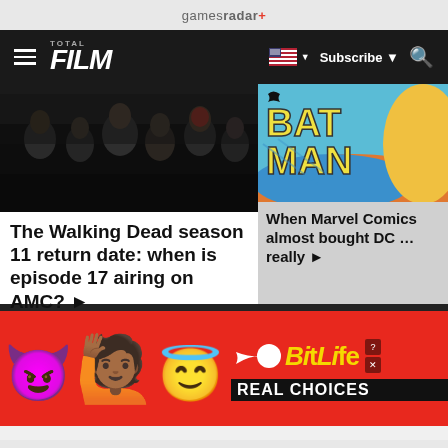gamesradar+
[Figure (screenshot): Site navigation bar with Total Film logo, hamburger menu, US flag, Subscribe button, and search icon]
[Figure (photo): The Walking Dead season 11 cast group photo in dark tones]
The Walking Dead season 11 return date: when is episode 17 airing on AMC? ▶
[Figure (illustration): Batman comic book cover showing BAT MAN title in yellow letters on blue background with orange shapes]
When Marvel Comics almost bought DC … really ▶
[Figure (other): BitLife advertisement banner with devil emoji, woman shrugging emoji, angel emoji, sperm icon, BitLife logo and REAL CHOICES text on red background]